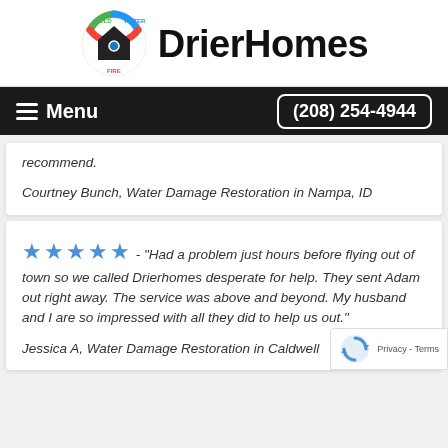[Figure (logo): DrierHomes logo with house icon surrounded by colorful circular arrow with MOLD, WATER, FIRE labels]
DrierHomes
Menu   (208) 254-4944
recommend.
Courtney Bunch, Water Damage Restoration in Nampa, ID
★★★★★ - "Had a problem just hours before flying out of town so we called Drierhomes desperate for help. They sent Adam out right away. The service was above and beyond. My husband and I are so impressed with all they did to help us out."
Jessica A, Water Damage Restoration in Caldwell